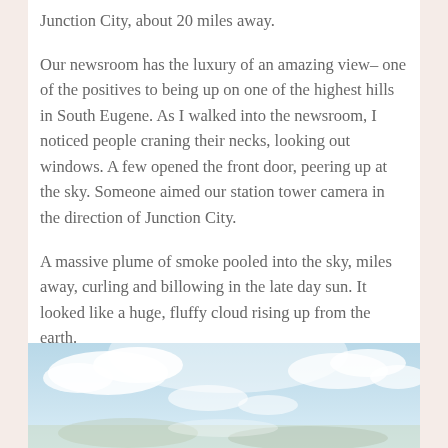Junction City, about 20 miles away.
Our newsroom has the luxury of an amazing view– one of the positives to being up on one of the highest hills in South Eugene. As I walked into the newsroom, I noticed people craning their necks, looking out windows. A few opened the front door, peering up at the sky. Someone aimed our station tower camera in the direction of Junction City.
A massive plume of smoke pooled into the sky, miles away, curling and billowing in the late day sun. It looked like a huge, fluffy cloud rising up from the earth.
Bounds Hay Company, a huge hay exporting company in Junction City, was on fire– and I was tapped to go.
[Figure (photo): Sky with clouds photo, light blue sky with white fluffy clouds]